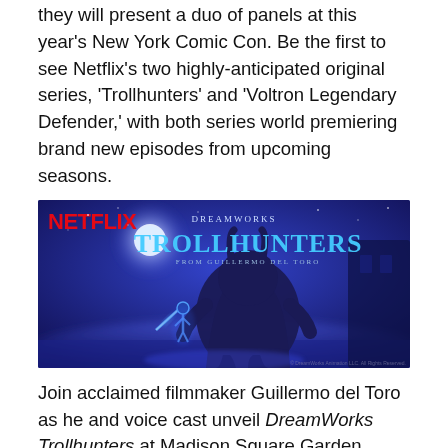they will present a duo of panels at this year's New York Comic Con. Be the first to see Netflix's two highly-anticipated original series, 'Trollhunters' and 'Voltron Legendary Defender,' with both series world premiering brand new episodes from upcoming seasons.
[Figure (illustration): Promotional image for Netflix / DreamWorks Trollhunters animated series by Guillermo del Toro. Shows a large troll creature and a small armored character with a glowing sword in a blue misty nighttime scene. NETFLIX logo in red top-left, DreamWorks Trollhunters logo in blue top-center, 'from Guillermo del Toro' subtitle.]
Join acclaimed filmmaker Guillermo del Toro as he and voice cast unveil DreamWorks Trollhunters at Madison Square Garden. Screen the pilot of this cinematic and